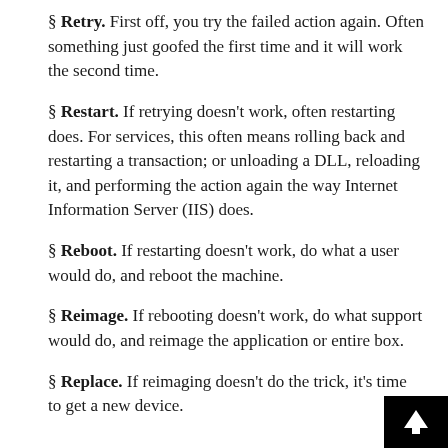§ Retry. First off, you try the failed action again. Often something just goofed the first time and it will work the second time.
§ Restart. If retrying doesn't work, often restarting does. For services, this often means rolling back and restarting a transaction; or unloading a DLL, reloading it, and performing the action again the way Internet Information Server (IIS) does.
§ Reboot. If restarting doesn't work, do what a user would do, and reboot the machine.
§ Reimage. If rebooting doesn't work, do what support would do, and reimage the application or entire box.
§ Replace. If reimaging doesn't do the trick, it's time to get a new device.